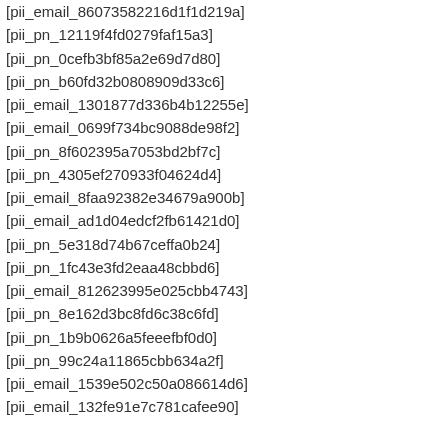[pii_email_86073582216d1f1d219a]
[pii_pn_12119f4fd0279faf15a3]
[pii_pn_0cefb3bf85a2e69d7d80]
[pii_pn_b60fd32b0808909d33c6]
[pii_email_1301877d336b4b12255e]
[pii_email_0699f734bc9088de98f2]
[pii_pn_8f602395a7053bd2bf7c]
[pii_pn_4305ef270933f04624d4]
[pii_email_8faa92382e34679a900b]
[pii_email_ad1d04edcf2fb61421d0]
[pii_pn_5e318d74b67ceffa0b24]
[pii_pn_1fc43e3fd2eaa48cbbd6]
[pii_email_812623995e025cbb4743]
[pii_pn_8e162d3bc8fd6c38c6fd]
[pii_pn_1b9b0626a5feeefbf0d0]
[pii_pn_99c24a11865cbb634a2f]
[pii_email_1539e502c50a086614d6]
[pii_email_132fe91e7c781cafee90]